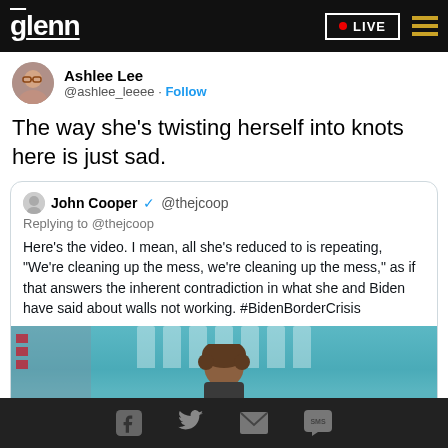glenn · LIVE
Ashlee Lee @ashlee_leeee · Follow
The way she's twisting herself into knots here is just sad.
John Cooper @thejcoop
Replying to @thejcoop
Here's the video. I mean, all she's reduced to is repeating, "We're cleaning up the mess, we're cleaning up the mess," as if that answers the inherent contradiction in what she and Biden have said about walls not working. #BidenBorderCrisis
[Figure (photo): White House press briefing room background with 'THE WHITE HOUSE WASHINGTON' seal text visible, woman with curly hair at podium]
Social share icons: Facebook, Twitter, Email, SMS